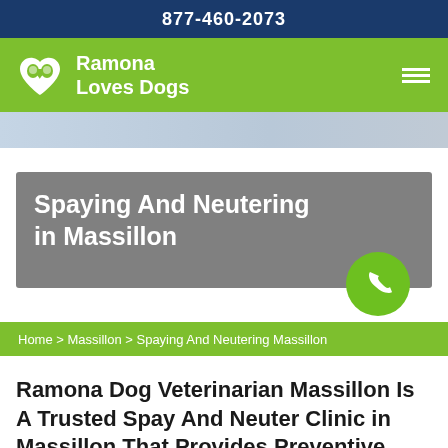877-460-2073
[Figure (logo): Ramona Loves Dogs logo with green background, white heart icon containing dog silhouette, and white bold text 'Ramona Loves Dogs']
[Figure (photo): Hero image strip showing a partial view of a person with a dog]
Spaying And Neutering in Massillon
Home > Massillon > Spaying And Neutering Massillon
Ramona Dog Veterinarian Massillon Is A Trusted Spay And Neuter Clinic in Massillon That Provides Preventive Care